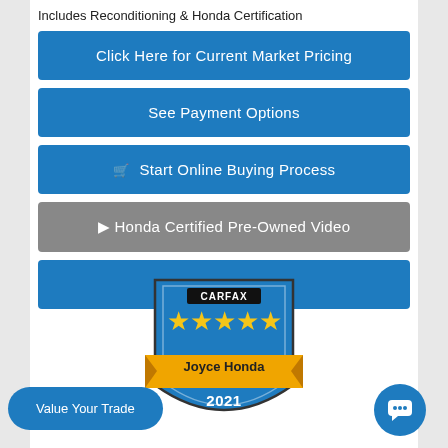Includes Reconditioning & Honda Certification
Click Here for Current Market Pricing
See Payment Options
🛒 Start Online Buying Process
▶ Honda Certified Pre-Owned Video
Click To Call
[Figure (logo): CARFAX 5-star rated badge showing Joyce Honda 2021 Top-Rated Dealer with golden ribbon and fox mascot]
Value Your Trade